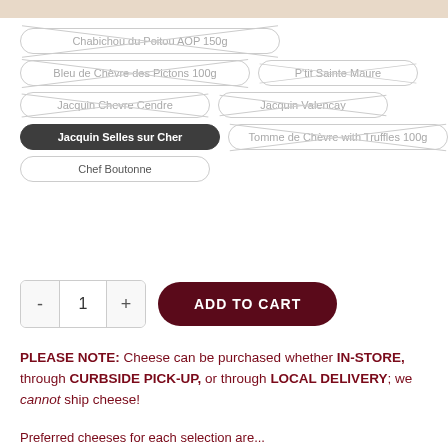Chabichou du Poitou AOP 150g (crossed out/unavailable)
Bleu de Chèvre des Pictons 100g (crossed out/unavailable)
P'tit Sainte Maure (crossed out/unavailable)
Jacquin Chevre Cendre (crossed out/unavailable)
Jacquin Valencay (crossed out/unavailable)
Jacquin Selles sur Cher (selected)
Tomme de Chèvre with Truffles 100g (crossed out/unavailable)
Chef Boutonne (available)
ADD TO CART — quantity 1
PLEASE NOTE: Cheese can be purchased whether IN-STORE, through CURBSIDE PICK-UP, or through LOCAL DELIVERY; we cannot ship cheese!